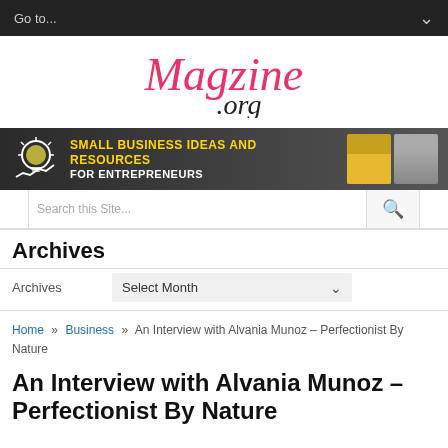Go to...
[Figure (logo): Magzine.Org logo in pink/red italic handwritten style font]
[Figure (infographic): Banner ad: SMALL BUSINESS IDEAS AND RESOURCES FOR ENTREPRENEURS with lightbulb icon and thumbnail images on right]
Search this Site...
Archives
Archives   Select Month
Home » Business » An Interview with Alvania Munoz – Perfectionist By Nature
An Interview with Alvania Munoz – Perfectionist By Nature